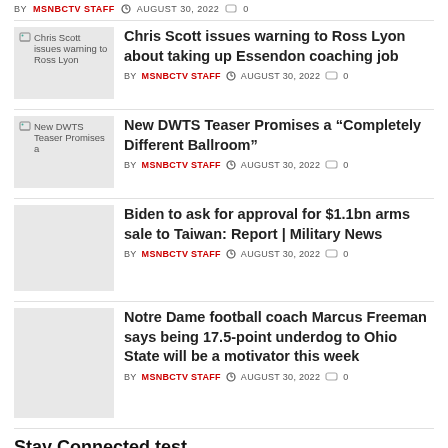BY MSNBCTV STAFF · AUGUST 30, 2022 · 0
[Figure (photo): Thumbnail image with alt text: Chris Scott issues warning to Ross Lyon]
Chris Scott issues warning to Ross Lyon about taking up Essendon coaching job
BY MSNBCTV STAFF · AUGUST 30, 2022 · 0
[Figure (photo): Thumbnail image with alt text: New DWTS Teaser Promises a]
New DWTS Teaser Promises a “Completely Different Ballroom”
BY MSNBCTV STAFF · AUGUST 30, 2022 · 0
[Figure (photo): Plain grey thumbnail image]
Biden to ask for approval for $1.1bn arms sale to Taiwan: Report | Military News
BY MSNBCTV STAFF · AUGUST 30, 2022 · 0
[Figure (photo): Plain grey thumbnail image]
Notre Dame football coach Marcus Freeman says being 17.5-point underdog to Ohio State will be a motivator this week
BY MSNBCTV STAFF · AUGUST 30, 2022 · 0
Stay Connected test